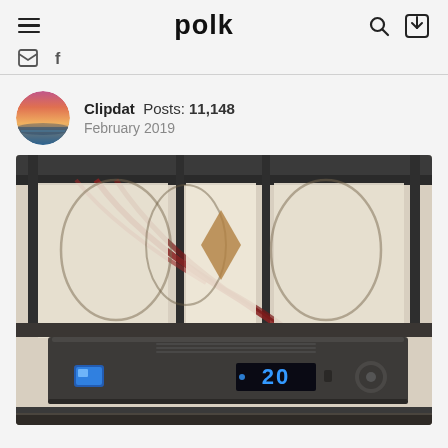polk
Clipdat  Posts: 11,148
February 2019
[Figure (photo): A dark gray audio receiver/amplifier unit displaying '20' in blue LED digits on the front panel, with a blue indicator light on the left, sitting on a metal AV rack shelf. Behind the device are visible audio cables and a decorative metal rack structure against a light background.]